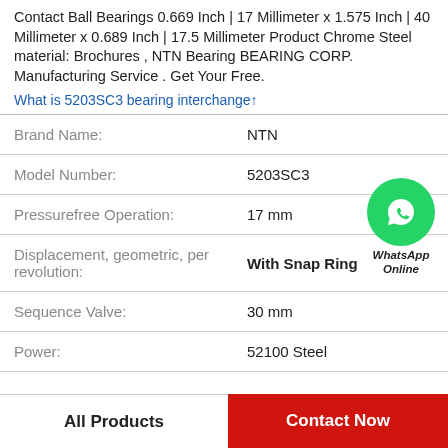Contact Ball Bearings 0.669 Inch | 17 Millimeter x 1.575 Inch | 40 Millimeter x 0.689 Inch | 17.5 Millimeter Product Chrome Steel material: Brochures , NTN Bearing BEARING CORP. Manufacturing Service . Get Your Free.
What is 5203SC3 bearing interchange↑
| Property | Value |
| --- | --- |
| Brand Name: | NTN |
| Model Number: | 5203SC3 |
| Pressurefree Operation: | 17 mm |
| Displacement, geometric, per revolution: | With Snap Ring |
| Sequence Valve: | 30 mm |
| Power: | 52100 Steel |
All Products
Contact Now